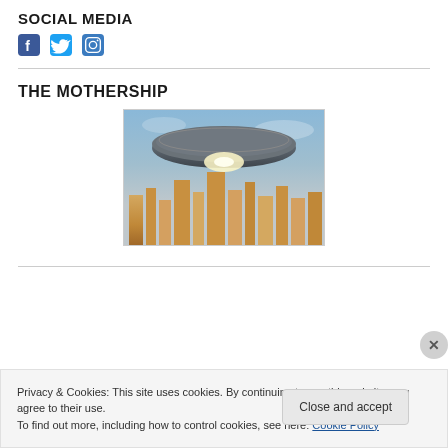SOCIAL MEDIA
[Figure (illustration): Social media icons: Facebook (f), Twitter (bird), Instagram (camera) in blue]
THE MOTHERSHIP
[Figure (photo): A large UFO/flying saucer hovering over a city skyline with skyscrapers, dramatic sky background, light glowing beneath the disc]
Privacy & Cookies: This site uses cookies. By continuing to use this website, you agree to their use.
To find out more, including how to control cookies, see here: Cookie Policy
Close and accept